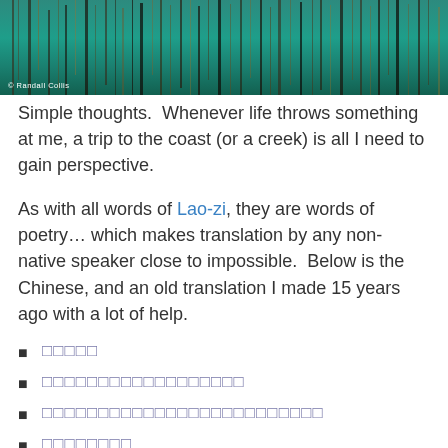[Figure (photo): Abstract teal/green water reflection photograph with vertical dark streaks, watermarked '© Randall Collis']
Simple thoughts.  Whenever life throws something at me, a trip to the coast (or a creek) is all I need to gain perspective.
As with all words of Lao-zi, they are words of poetry… which makes translation by any non-native speaker close to impossible.  Below is the Chinese, and an old translation I made 15 years ago with a lot of help.
⬜⬜⬜⬜⬜
⬜⬜⬜⬜⬜⬜⬜⬜⬜⬜⬜⬜⬜⬜⬜⬜⬜⬜
⬜⬜⬜⬜⬜⬜⬜⬜⬜⬜⬜⬜⬜⬜⬜⬜⬜⬜⬜⬜⬜⬜⬜⬜⬜
⬜⬜⬜⬜⬜⬜⬜⬜